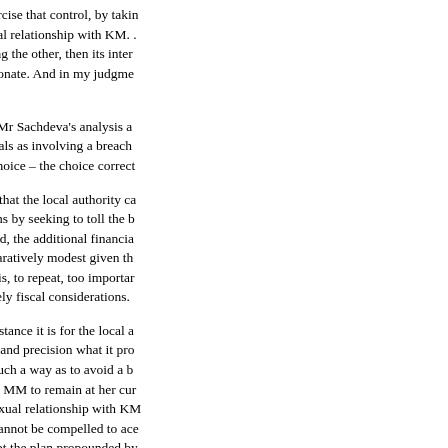if it wishes to exercise that control, by taking on the burden of doing the other, then its interference would be, as I agree, disproportionate. And in my judgment, it would be a breach of Article 8.
164. I agree with Mr Sachdeva's analysis and I characterise the authority's proposals as involving a breach of Article 8. The local authority, in my judgment, has a choice – the choice correctly identified by Mr Sachdeva.
165. I should add that the local authority cannot discharge its positive obligations by seeking to toll the b… As Mr Sachdeva correctly submitted, the additional financial burden on the local authority is comparatively modest given the savings to be made. The right in play here is, to repeat, too important to be casually brushed aside by such purely fiscal considerations.
166. In the first instance it is for the local authority to set out in appropriate detail and precision what it proposes, whether it can make arrangements in such a way as to avoid a breach of Article 8, or to pursue its plan for MM to remain at her current placement and seek to facilitate her sexual relationship with KM as proposed. That is for the court. The court cannot be compelled to accept one plan. The court is obliged to accept the plan propounded by the local authority or made under Part IV of the Children Act 1989. On the contrary, acting in the best interests of the vulnerable adult and mindful of the duty under the Human Rights Act 1998 to – endorse a plan that would breach Article 8.